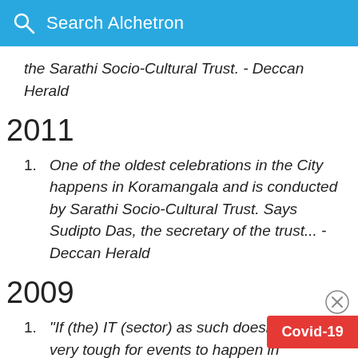Search Alchetron
the Sarathi Socio-Cultural Trust. - Deccan Herald
2011
One of the oldest celebrations in the City happens in Koramangala and is conducted by Sarathi Socio-Cultural Trust. Says Sudipto Das, the secretary of the trust... - Deccan Herald
2009
“If (the) IT (sector) as such doesn’t p... very tough for events to happen in Bangalore,